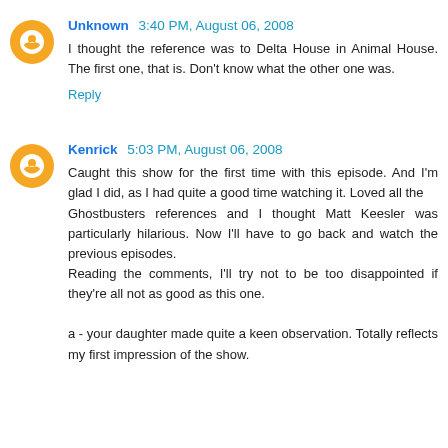Unknown 3:40 PM, August 06, 2008
I thought the reference was to Delta House in Animal House. The first one, that is. Don't know what the other one was.
Reply
Kenrick 5:03 PM, August 06, 2008
Caught this show for the first time with this episode. And I'm glad I did, as I had quite a good time watching it. Loved all the Ghostbusters references and I thought Matt Keesler was particularly hilarious. Now I'll have to go back and watch the previous episodes.
Reading the comments, I'll try not to be too disappointed if they're all not as good as this one.
a - your daughter made quite a keen observation. Totally reflects my first impression of the show.